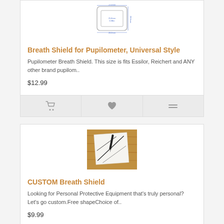[Figure (illustration): Line drawing schematic of a rectangular breath shield with dimension labels (29.8mm / 0.98in and 29.6mm / 8.2in)]
Breath Shield for Pupilometer, Universal Style
Pupilometer Breath Shield. This size is fits Essilor, Reichert and ANY other brand pupilom..
$12.99
[Figure (photo): Photo of a sheet of white paper with pen/pencil lines drawn on it, placed on a wooden surface — representing custom breath shield design]
CUSTOM Breath Shield
Looking for Personal Protective Equipment that's truly personal? Let's go custom.Free shapeChoice of..
$9.99